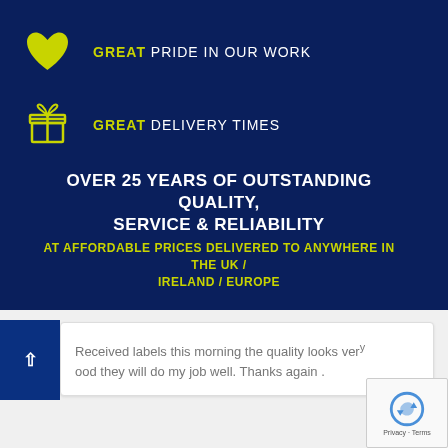[Figure (infographic): Yellow/lime heart icon on dark navy background]
GREAT PRIDE IN OUR WORK
[Figure (infographic): Yellow/lime gift box icon on dark navy background]
GREAT DELIVERY TIMES
OVER 25 YEARS OF OUTSTANDING QUALITY, SERVICE & RELIABILITY
AT AFFORDABLE PRICES DELIVERED TO ANYWHERE IN THE UK / IRELAND / EUROPE
Received labels this morning the quality looks very good they will do my job well. Thanks again .